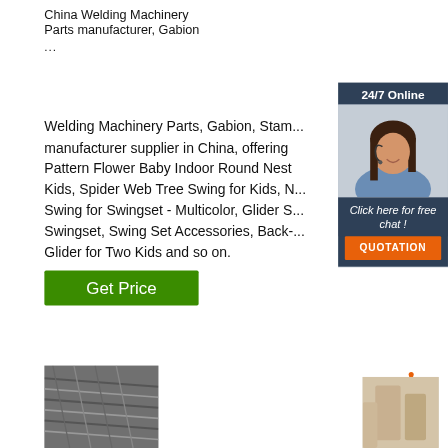China Welding Machinery Parts manufacturer, Gabion ...
Welding Machinery Parts, Gabion, Stamping manufacturer supplier in China, offering Pattern Flower Baby Indoor Round Nest Kids, Spider Web Tree Swing for Kids, N... Swing for Swingset - Multicolor, Glider S... Swingset, Swing Set Accessories, Back-... Glider for Two Kids and so on.
[Figure (other): Live chat widget showing a woman with headset, '24/7 Online', 'Click here for free chat!' and orange QUOTATION button]
[Figure (other): Green 'Get Price' button]
[Figure (other): TOP navigation icon with orange dots and arrow]
[Figure (photo): Photo of welding machinery parts/wires]
[Figure (photo): Partial photo bottom right]